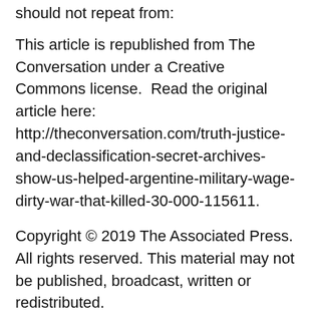should not repeat from:
This article is republished from The Conversation under a Creative Commons license.  Read the original article here: http://theconversation.com/truth-justice-and-declassification-secret-archives-show-us-helped-argentine-military-wage-dirty-war-that-killed-30-000-115611.
Copyright © 2019 The Associated Press. All rights reserved. This material may not be published, broadcast, written or redistributed.
Share this: